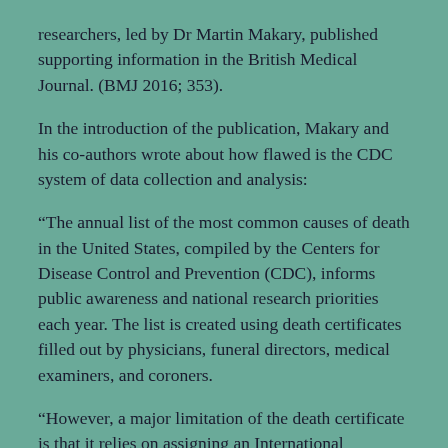researchers, led by Dr Martin Makary, published supporting information in the British Medical Journal. (BMJ 2016; 353).
In the introduction of the publication, Makary and his co-authors wrote about how flawed is the CDC system of data collection and analysis:
“The annual list of the most common causes of death in the United States, compiled by the Centers for Disease Control and Prevention (CDC), informs public awareness and national research priorities each year. The list is created using death certificates filled out by physicians, funeral directors, medical examiners, and coroners.
“However, a major limitation of the death certificate is that it relies on assigning an International Classification of Disease (ICD) code to the cause of death. As a result,